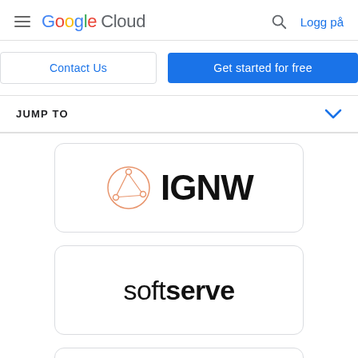Google Cloud — Logg på
Contact Us | Get started for free
JUMP TO
[Figure (logo): IGNW logo: orange circular network icon and bold black text IGNW inside a rounded rectangle card]
[Figure (logo): SoftServe logo: lowercase 'soft' in regular weight and 'serve' in bold, black text, inside a rounded rectangle card]
[Figure (logo): Partial third logo card visible at bottom of page]